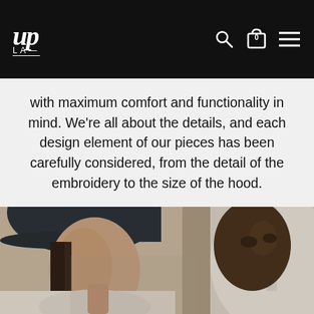Up LA — [logo with search, bag, menu icons]
with maximum comfort and functionality in mind. We're all about the details, and each design element of our pieces has been carefully considered, from the detail of the embroidery to the size of the hood.
[Figure (photo): Two models wearing streetwear — a woman in a dark cap and white top, and a man in a white hoodie, both looking at the camera]